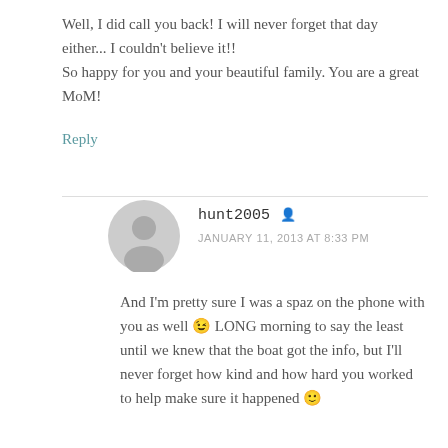Well, I did call you back! I will never forget that day either... I couldn't believe it!! So happy for you and your beautiful family. You are a great MoM!
Reply
hunt2005
JANUARY 11, 2013 AT 8:33 PM
And I'm pretty sure I was a spaz on the phone with you as well 😉 LONG morning to say the least until we knew that the boat got the info, but I'll never forget how kind and how hard you worked to help make sure it happened 🙂